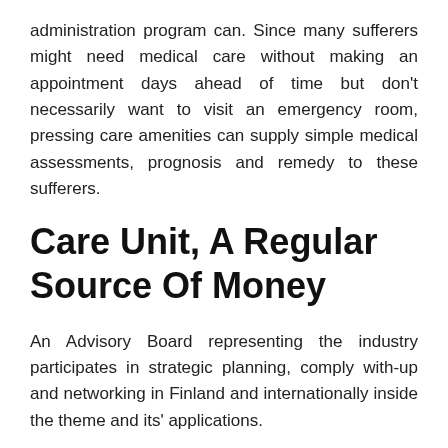administration program can. Since many sufferers might need medical care without making an appointment days ahead of time but don't necessarily want to visit an emergency room, pressing care amenities can supply simple medical assessments, prognosis and remedy to these sufferers.
Care Unit, A Regular Source Of Money
An Advisory Board representing the industry participates in strategic planning, comply with-up and networking in Finland and internationally inside the theme and its' applications.